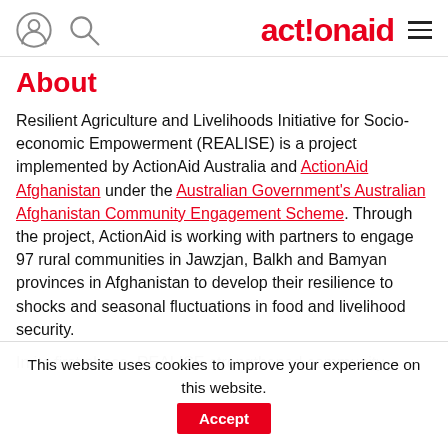actionaid [navigation header with user icon, search icon, and hamburger menu]
About
Resilient Agriculture and Livelihoods Initiative for Socio-economic Empowerment (REALISE) is a project implemented by ActionAid Australia and ActionAid Afghanistan under the Australian Government's Australian Afghanistan Community Engagement Scheme. Through the project, ActionAid is working with partners to engage 97 rural communities in Jawzjan, Balkh and Bamyan provinces in Afghanistan to develop their resilience to shocks and seasonal fluctuations in food and livelihood security.
In its first phase, REALISE strengthened community
This website uses cookies to improve your experience on this website.